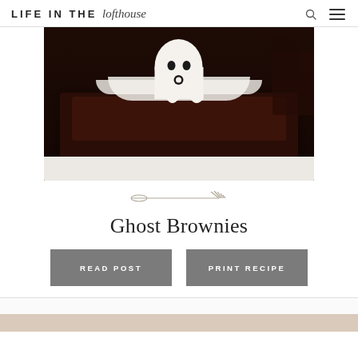LIFE IN THE lofthouse
[Figure (photo): Close-up photo of a Halloween ghost brownie — a fudgy chocolate brownie topped with white frosting shaped like a melting ghost, with black candy eyes and an O-shaped mouth.]
[Figure (illustration): Decorative fork divider line illustration]
Ghost Brownies
READ POST
PRINT RECIPE